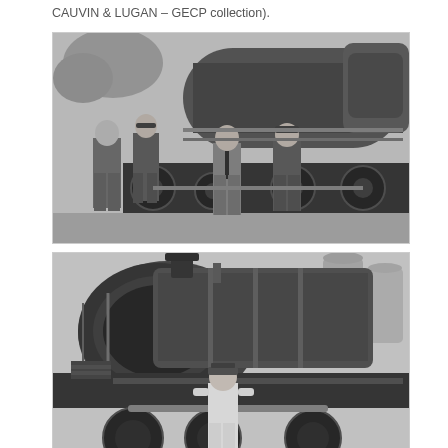CAUVIN & LUGAN – GECP collection).
[Figure (photo): Black and white historical photograph of four men in work clothes and caps standing in front of a large steam locomotive. The boiler and front of the locomotive dominate the background.]
[Figure (photo): Black and white historical photograph of a large steam locomotive viewed from the front-side angle, showing the boiler, smokebox, and front details. A man in uniform stands in front of the locomotive.]